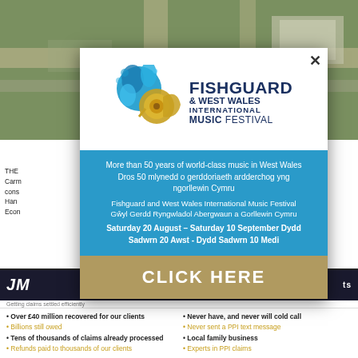[Figure (photo): Aerial photograph of roads and industrial area, used as webpage background]
[Figure (infographic): Popup advertisement for Fishguard and West Wales International Music Festival with logo, blue information band, and gold click-here CTA]
More than 50 years of world-class music in West Wales
Dros 50 mlynedd o gerddoriaeth ardderchog yng ngorllewin Cymru
Fishguard and West Wales International Music Festival
Gŵyl Gerdd Ryngwladol Abergwaun a Gorllewin Cymru
Saturday 20 August - Saturday 10 September Dydd Sadwrn 20 Awst - Dydd Sadwrn 10 Medi
CLICK HERE
• Over £40 million recovered for our clients
• Billions still owed
• Tens of thousands of claims already processed
• Refunds paid to thousands of our clients
• Never have, and never will cold call
• Never sent a PPI text message
• Local family business
• Experts in PPI claims